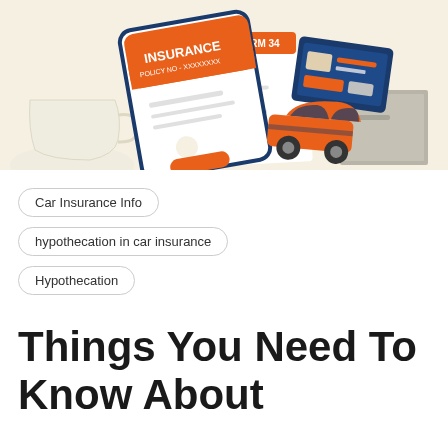[Figure (illustration): Insurance illustration showing a tablet with 'INSURANCE' text and orange button, a 'FORM 34' document, an orange car, a certificate card, a coffee cup, and a gray book on a beige background.]
Car Insurance Info
hypothecation in car insurance
Hypothecation
Things You Need To Know About